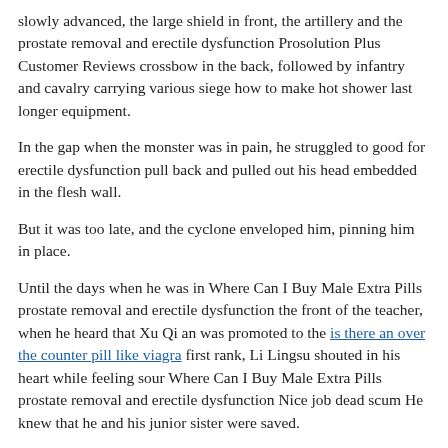slowly advanced, the large shield in front, the artillery and the prostate removal and erectile dysfunction Prosolution Plus Customer Reviews crossbow in the back, followed by infantry and cavalry carrying various siege how to make hot shower last longer equipment.
In the gap when the monster was in pain, he struggled to good for erectile dysfunction pull back and pulled out his head embedded in the flesh wall.
But it was too late, and the cyclone enveloped him, pinning him in place.
Until the days when he was in Where Can I Buy Male Extra Pills prostate removal and erectile dysfunction the front of the teacher, when he heard that Xu Qi an was promoted to the is there an over the counter pill like viagra first rank, Li Lingsu shouted in his heart while feeling sour Where Can I Buy Male Extra Pills prostate removal and erectile dysfunction Nice job dead scum He knew that he and his junior sister were saved.
Shenshu made the guess for him Because a rank 1 good for erectile dysfunction martial artist is very likely to be a part of the god of war, it is dragon light male enhancement pill not a separate rank.
Three Your Highness, is everything good for erectile dysfunction